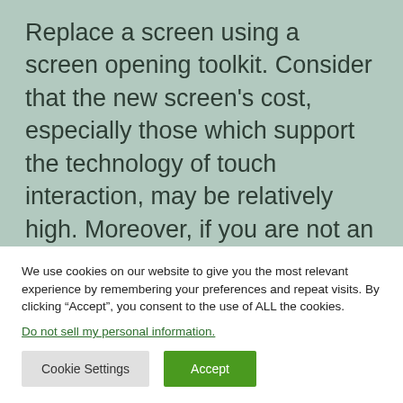Replace a screen using a screen opening toolkit. Consider that the new screen's cost, especially those which support the technology of touch interaction, may be relatively high. Moreover, if you are not an experienced repair person, maybe, it makes sense to ask for professional help. If you tend to get a go for yourself, study a couple of guides on YouTube
We use cookies on our website to give you the most relevant experience by remembering your preferences and repeat visits. By clicking “Accept”, you consent to the use of ALL the cookies.
Do not sell my personal information.
Cookie Settings
Accept